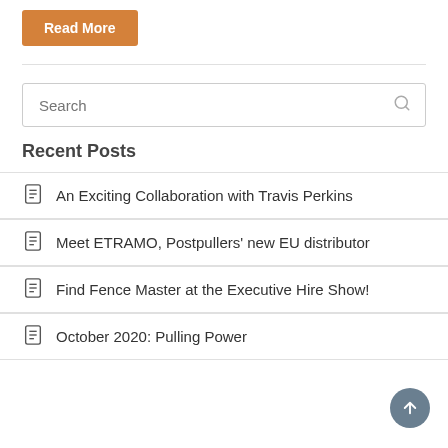Read More
Search
Recent Posts
An Exciting Collaboration with Travis Perkins
Meet ETRAMO, Postpullers' new EU distributor
Find Fence Master at the Executive Hire Show!
October 2020: Pulling Power